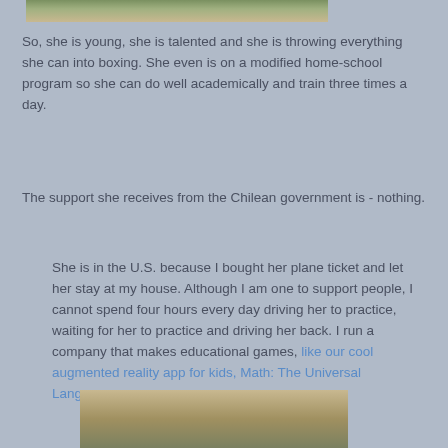[Figure (photo): Partial photo at top showing outdoor scene, possibly feet with red shoes on a surface]
So, she is young, she is talented and she is throwing everything she can into boxing. She even is on a modified home-school program so she can do well academically and train three times a day.
The support she receives from the Chilean government is - nothing.
She is in the U.S. because I bought her plane ticket and let her stay at my house. Although I am one to support people, I cannot spend four hours every day driving her to practice, waiting for her to practice and driving her back. I run a company that makes educational games, like our cool augmented reality app for kids, Math: The Universal Language.
[Figure (photo): Partial photo at bottom showing what appears to be a book or tablet with colorful imagery on a wooden surface]